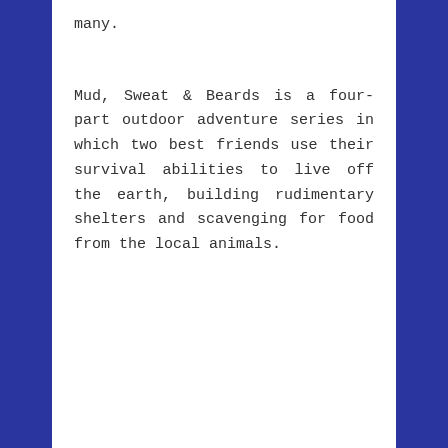many.
Mud, Sweat & Beards is a four-part outdoor adventure series in which two best friends use their survival abilities to live off the earth, building rudimentary shelters and scavenging for food from the local animals.